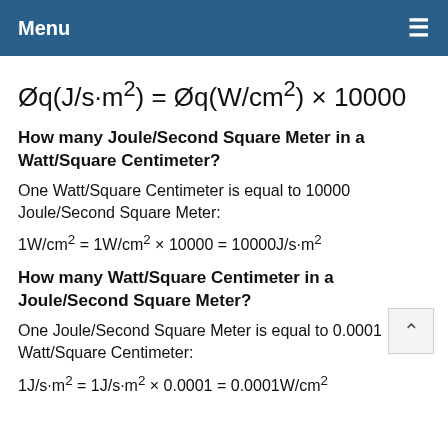Menu  ≡
How many Joule/Second Square Meter in a Watt/Square Centimeter?
One Watt/Square Centimeter is equal to 10000 Joule/Second Square Meter:
How many Watt/Square Centimeter in a Joule/Second Square Meter?
One Joule/Second Square Meter is equal to 0.0001 Watt/Square Centimeter: